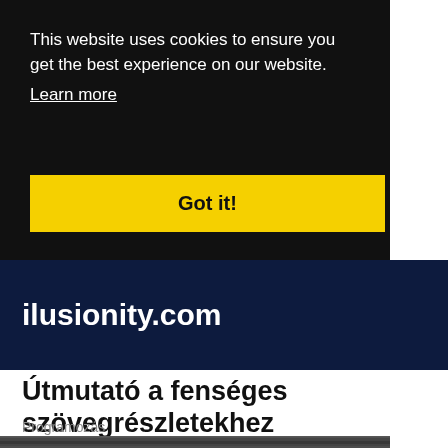This website uses cookies to ensure you get the best experience on our website. Learn more
Got it!
ilusionity.com
Útmutató a fenséges szövegrészletekhez
Programozás